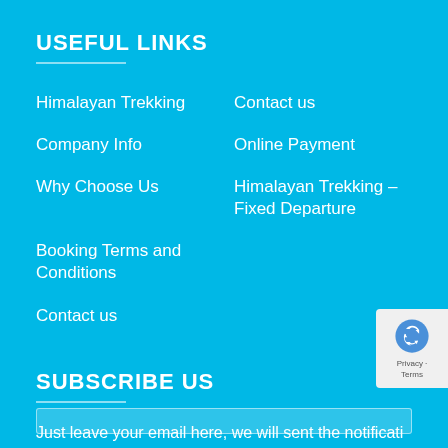USEFUL LINKS
Himalayan Trekking
Contact us
Company Info
Online Payment
Why Choose Us
Himalayan Trekking – Fixed Departure
Booking Terms and Conditions
Contact us
SUBSCRIBE US
Just leave your email here, we will sent the notification our discount and seasonal offers.